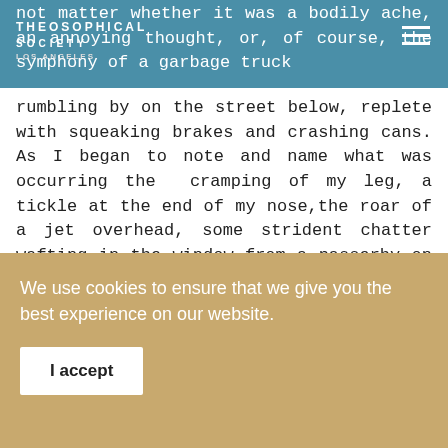THEOSOPHICAL SOCIETY
not matter whether it was a bodily ache, an annoying thought, or, of course, the symphony of a garbage truck rumbling by on the street below, replete with squeaking brakes and crashing cans. As I began to note and name what was occurring the cramping of my leg, a tickle at the end of my nose,the roar of a jet overhead, some strident chatter wafting in the window from a passerby on a cell phone—I could actually sit more benevolently with these discomforts by observing them in a neutral way.
I did not need to cling to the noise or whatever interference I became aware of, did not need to develop it in my mind. Feelings would arise, and I could simply be with them in the
We use cookies to ensure that we give you the best experience on our website.
I accept